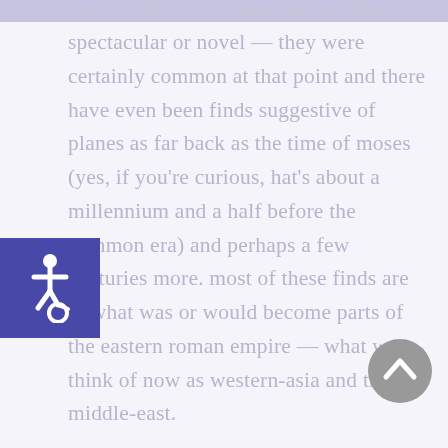used depleted in roman art and they're not
spectacular or novel — they were certainly common at that point and there have even been finds suggestive of planes as far back as the time of moses (yes, if you're curious, hat's about a millennium and a half before the common era) and perhaps a few centuries more. most of these finds are in what was or would become parts of the eastern roman empire — what we think of now as western-asia and the middle-east.

china and its derived cultures (korean, japanese, tibetan, vietnamese, thai) and
[Figure (illustration): Accessibility icon — white wheelchair user symbol on dark blue/indigo square background]
[Figure (illustration): Gray circular scroll-to-top button with upward chevron arrow]